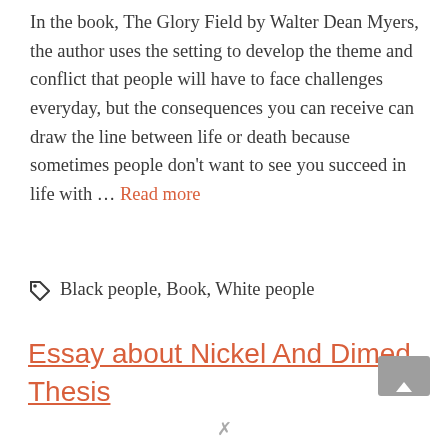In the book, The Glory Field by Walter Dean Myers, the author uses the setting to develop the theme and conflict that people will have to face challenges everyday, but the consequences you can receive can draw the line between life or death because sometimes people don't want to see you succeed in life with … Read more
Black people, Book, White people
Essay about Nickel And Dimed Thesis